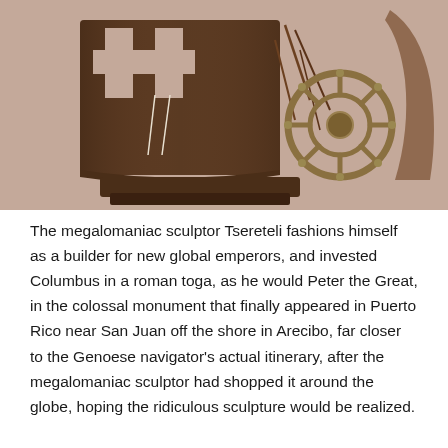[Figure (photo): A bronze sculpture depicting a sailing ship with a cross-shaped sail and a ship's wheel (helm), photographed against a pinkish-beige background. The sculpture appears to be a decorative figurine referencing Christopher Columbus's voyage.]
The megalomaniac sculptor Tsereteli fashions himself as a builder for new global emperors, and invested Columbus in a roman toga, as he would Peter the Great, in the colossal monument that finally appeared in Puerto Rico near San Juan off the shore in Arecibo, far closer to the Genoese navigator's actual itinerary, after the megalomaniac sculptor had shopped it around the globe, hoping the ridiculous sculpture would be realized.